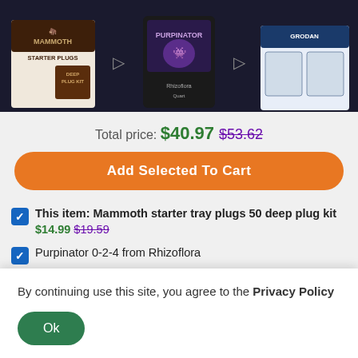[Figure (photo): Product images: Mammoth Starter Plugs deep plug kit box, Purpinator bottle, and Grodan seed starting block packages shown at top of page against dark background]
Total price: $40.97 $53.62
Add Selected To Cart
This item: Mammoth starter tray plugs 50 deep plug kit  $14.99  $19.59
Purpinator 0-2-4 from Rhizoflora  Quart - 749330  $19.99  $25.08
Grodan HUGO 6x6x6 Hydroponics Seed Starting Block  1 Count  $5.99  $8.95
By continuing use this site, you agree to the Privacy Policy
Ok